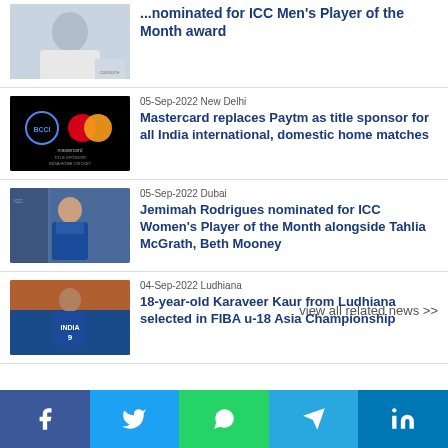...nominated for ICC Men's Player of the Month award
05-Sep-2022 New Delhi
Mastercard replaces Paytm as title sponsor for all India international, domestic home matches
05-Sep-2022 Dubai
Jemimah Rodrigues nominated for ICC Women's Player of the Month alongside Tahlia McGrath, Beth Mooney
04-Sep-2022 Ludhiana
18-year-old Karaveer Kaur from Ludhiana selected in FIBA u-18 Asia Championship
view all related news >>